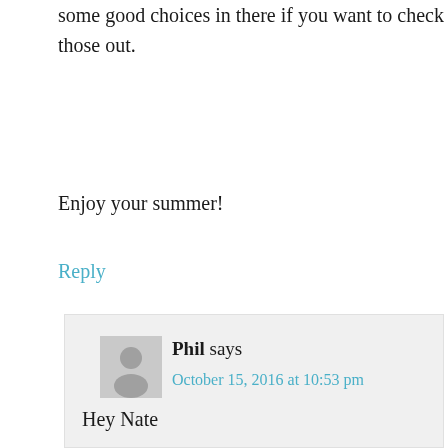some good choices in there if you want to check those out.
Enjoy your summer!
Reply
[Figure (other): User avatar for Phil — grey silhouette placeholder image]
Phil says
October 15, 2016 at 10:53 pm
Hey Nate
Tried to stay away from looking at boards